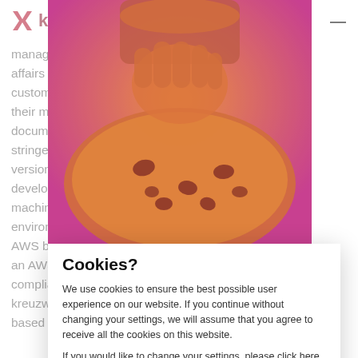kreuz [logo]
management. regulatory affairs have to devo lets the customer foc aspects of their medical e errors on documentation more stringent com es in the first version on a s nd the development ment on local machines to s r migration environment a igned with AWS best pra levo create an AWS Land security, compliance, a ore, kreuzwerker m nicroservices-based applic
[Figure (photo): Cookie image with orange/pink duotone filter showing cookies and a jar]
Cookies?
We use cookies to ensure the best possible user experience on our website. If you continue without changing your settings, we will assume that you agree to receive all the cookies on this website.
If you would like to change your settings, please click here
Accept all
Reject
Solution
The first step was to analyze the existing setup in a one-